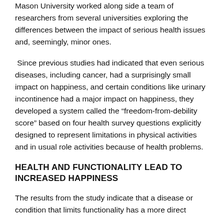Mason University worked along side a team of researchers from several universities exploring the differences between the impact of serious health issues and, seemingly, minor ones.
Since previous studies had indicated that even serious diseases, including cancer, had a surprisingly small impact on happiness, and certain conditions like urinary incontinence had a major impact on happiness, they developed a system called the “freedom-from-debility score” based on four health survey questions explicitly designed to represent limitations in physical activities and in usual role activities because of health problems.
HEALTH AND FUNCTIONALITY LEAD TO INCREASED HAPPINESS
The results from the study indicate that a disease or condition that limits functionality has a more direct